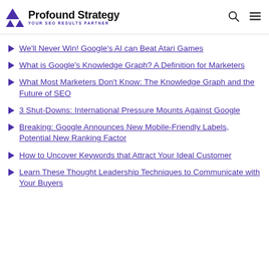Profound Strategy — YOUR SEO RESULTS PARTNER
We'll Never Win! Google's AI can Beat Atari Games
What is Google's Knowledge Graph? A Definition for Marketers
What Most Marketers Don't Know: The Knowledge Graph and the Future of SEO
3 Shut-Downs: International Pressure Mounts Against Google
Breaking: Google Announces New Mobile-Friendly Labels, Potential New Ranking Factor
How to Uncover Keywords that Attract Your Ideal Customer
Learn These Thought Leadership Techniques to Communicate with Your Buyers